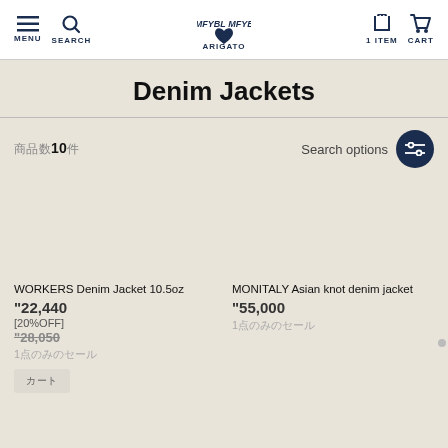MENU SEARCH ARIGATO 1 ITEM CART
Denim Jackets
商品数10件 Search options
WORKERS Denim Jacket 10.5oz
¥22,440
[20%OFF]
¥28,050
1点のみのセール
MONITALY Asian knot denim jacket
¥55,000
1点のみのセール